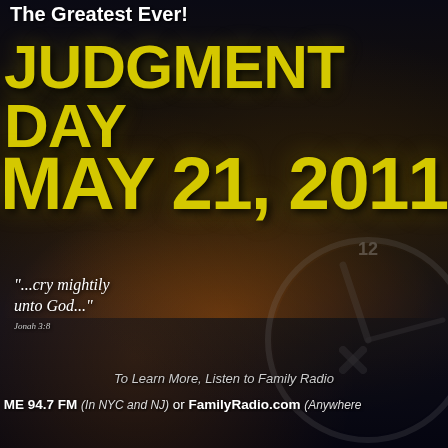The Greatest Ever!
JUDGMENT DAY
MAY 21, 2011
[Figure (illustration): Dark apocalyptic background with city skyline at night, large clock face overlay, glowing orange city lights]
"...cry mightily unto God..."
Jonah 3:8
To Learn More, Listen to Family Radio
ME 94.7 FM (In NYC and NJ) or FamilyRadio.com (Anywhere)